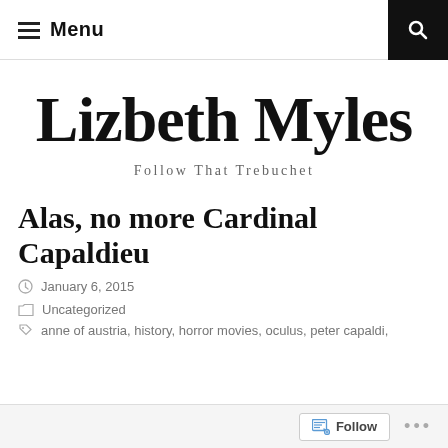Menu
Lizbeth Myles
Follow That Trebuchet
Alas, no more Cardinal Capaldieu
January 6, 2015
Uncategorized
anne of austria, history, horror movies, oculus, peter capaldi,
Follow